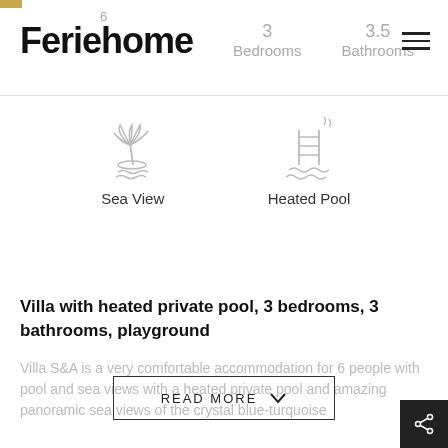Feriehome
6
3
Bedrooms
3.5
Bathrooms
[Figure (illustration): Sea View icon: palm tree on island with waves]
[Figure (illustration): Heated Pool icon: pool ladder with steam/heat waves]
Sea View
Heated Pool
Villa with heated private pool, 3 bedrooms, 3 bathrooms, playground
Villa S&A is a very comfortable accommodation for 6 people with pool and sea views with a heated private pool and amazing panoramic sea views of the crystal blue-turquoise
READ MORE